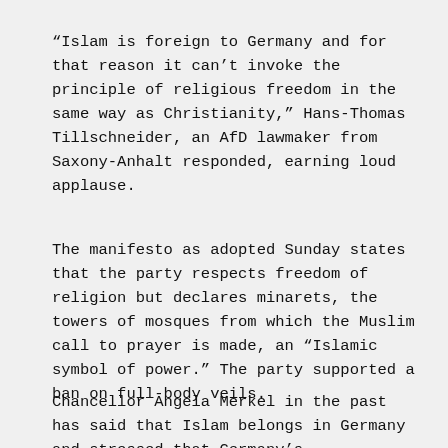“Islam is foreign to Germany and for that reason it can’t invoke the principle of religious freedom in the same way as Christianity,” Hans-Thomas Tillschneider, an AfD lawmaker from Saxony-Anhalt responded, earning loud applause.
The manifesto as adopted Sunday states that the party respects freedom of religion but declares minarets, the towers of mosques from which the Muslim call to prayer is made, an “Islamic symbol of power.” The party supported a ban on full-body veils.
Chancellor Angela Merkel in the past has said that Islam belongs in Germany and stressed that Germany’s constitution protects freedom of religion.